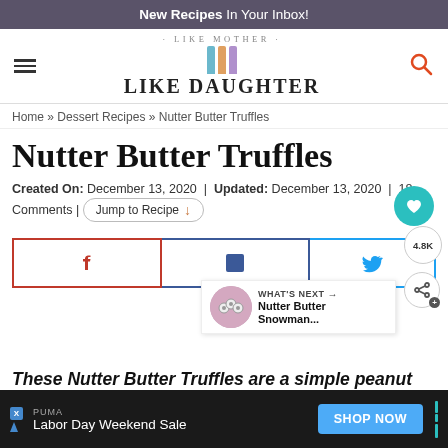New Recipes In Your Inbox!
[Figure (logo): Like Mother Like Daughter blog logo with three whisks and arched text]
Home » Dessert Recipes » Nutter Butter Truffles
Nutter Butter Truffles
Created On: December 13, 2020 | Updated: December 13, 2020 | 18 Comments | Jump to Recipe
[Figure (infographic): Social sharing buttons: Pinterest, Facebook, Twitter; heart like button (teal circle); share count 4.8K; What's Next panel showing Nutter Butter Snowman...]
These Nutter Butter Truffles are a simple peanut butter treat. They are coated in delicious chocolate and decorated. They
[Figure (screenshot): PUMA advertisement banner: Labor Day Weekend Sale with SHOP NOW blue button]